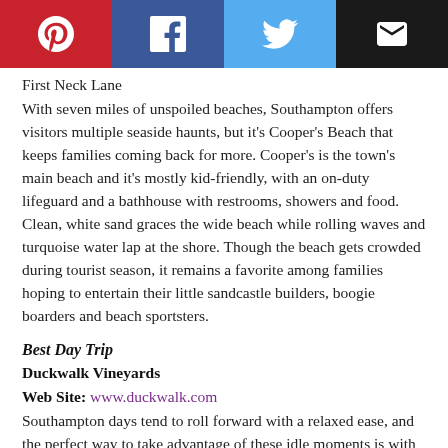[Figure (other): Social sharing bar with Pinterest, Facebook, Twitter, and Email icons]
First Neck Lane
With seven miles of unspoiled beaches, Southampton offers visitors multiple seaside haunts, but it's Cooper's Beach that keeps families coming back for more. Cooper's is the town's main beach and it's mostly kid-friendly, with an on-duty lifeguard and a bathhouse with restrooms, showers and food. Clean, white sand graces the wide beach while rolling waves and turquoise water lap at the shore. Though the beach gets crowded during tourist season, it remains a favorite among families hoping to entertain their little sandcastle builders, boogie boarders and beach sportsters.
Best Day Trip
Duckwalk Vineyards
Web Site: www.duckwalk.com
Southampton days tend to roll forward with a relaxed ease, and the perfect way to take advantage of these idle moments is with a tour of one of the Hamptons' most